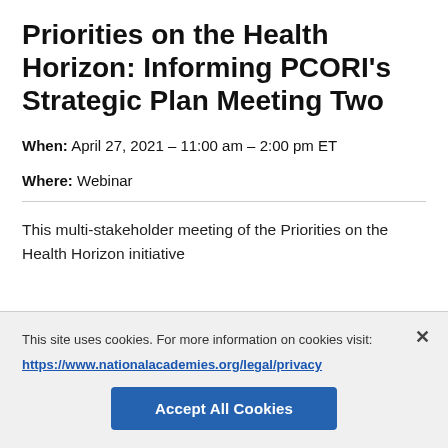Priorities on the Health Horizon: Informing PCORI's Strategic Plan Meeting Two
When: April 27, 2021 – 11:00 am – 2:00 pm ET
Where: Webinar
This multi-stakeholder meeting of the Priorities on the Health Horizon initiative will bring together key stakeholders for conversation...
This site uses cookies. For more information on cookies visit: https://www.nationalacademies.org/legal/privacy